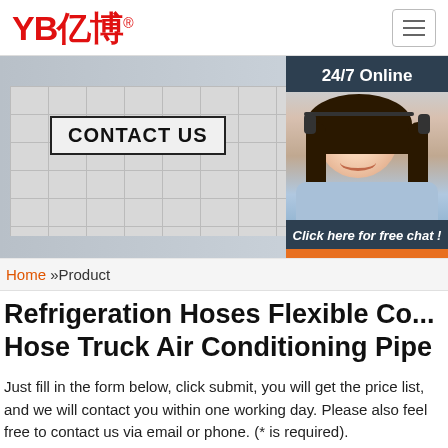[Figure (logo): YB亿博 logo in red with registered trademark symbol]
[Figure (photo): Photo of a bald man giving thumbs up in front of a CONTACT US sign, with a 24/7 Online chat widget overlay showing a woman with headset, Click here for free chat text, and QUOTATION button]
Home »Product
Refrigeration Hoses Flexible Co... Hose Truck Air Conditioning Pipe
Just fill in the form below, click submit, you will get the price list, and we will contact you within one working day. Please also feel free to contact us via email or phone. (* is required).